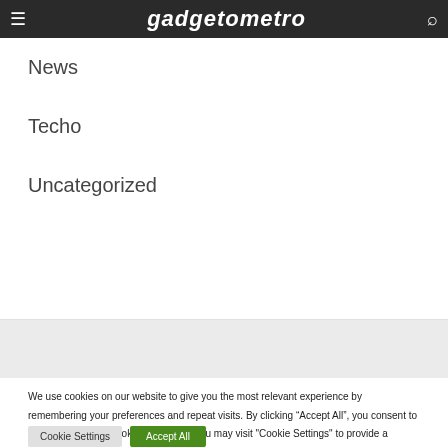gadgetometro
News
Techo
Uncategorized
We use cookies on our website to give you the most relevant experience by remembering your preferences and repeat visits. By clicking “Accept All”, you consent to the use of ALL the cookies. However, you may visit "Cookie Settings" to provide a controlled consent.